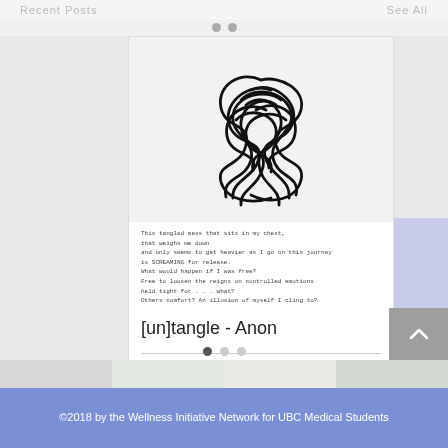Recent Posts   See All
[Figure (illustration): A tangled mass of black lines/cords forming a chaotic knot shape against a light gray background]
This tangled mess that sits in my chest,
that weighs me down
and only seems to get heavier as I go on this journey
is SCREAMING for release.
What would happen if I was free?
Free to loosen the reigns on controlled emotions
held tight for . . . what?
Others comfort? An illusion of myself I cling to?
[un]tangle - Anon
19  0
©2018 by the Wellness Initiative Network for UBC Medical Students